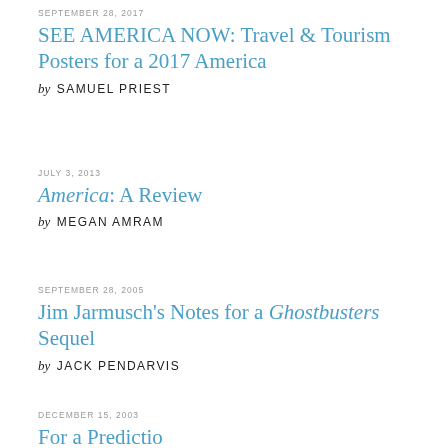SEPTEMBER 28, 2017
SEE AMERICA NOW: Travel & Tourism Posters for a 2017 America
by SAMUEL PRIEST
JULY 3, 2013
America: A Review
by MEGAN AMRAM
SEPTEMBER 28, 2005
Jim Jarmusch's Notes for a Ghostbusters Sequel
by JACK PENDARVIS
DECEMBER 15, 2003
For a Predictio…